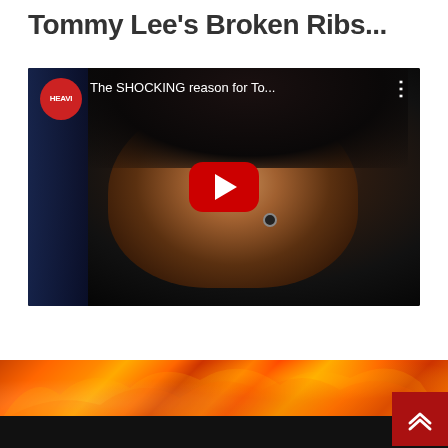Tommy Lee's Broken Ribs...
[Figure (screenshot): Embedded YouTube video thumbnail showing Tommy Lee's face with dark hair, wearing dark clothing. The YouTube player interface shows the HEAVI channel logo (red circle), video title 'The SHOCKING reason for To...', three-dot menu, and a large red YouTube play button in the center. Dark background.]
[Figure (photo): Fire/flames banner image at the bottom of the page, orange and red flames on dark background. A red scroll-to-top button with double chevron up arrow is in the bottom right corner.]